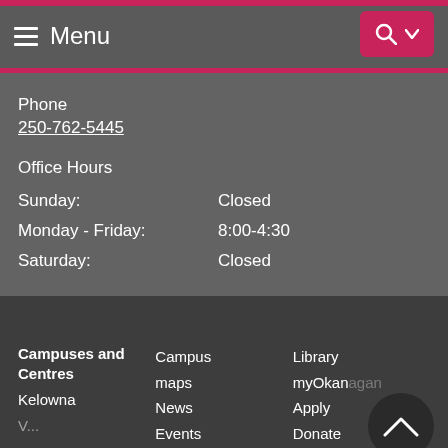Menu
Phone
250-762-5445
Office Hours
| Day | Hours |
| --- | --- |
| Sunday: | Closed |
| Monday - Friday: | 8:00-4:30 |
| Saturday: | Closed |
Campuses and Centres
Kelowna
Campus maps
News
Events
Library
myOkanagan
Apply
Donate